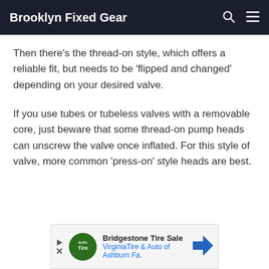Brooklyn Fixed Gear
Then there’s the thread-on style, which offers a reliable fit, but needs to be ‘flipped and changed’ depending on your desired valve.
If you use tubes or tubeless valves with a removable core, just beware that some thread-on pump heads can unscrew the valve once inflated. For this style of valve, more common ‘press-on’ style heads are best.
[Figure (other): Advertisement banner for Bridgestone Tire Sale at VirginiaTire & Auto of Ashburn Fa.]